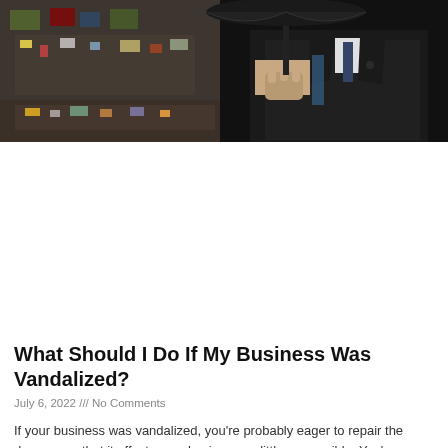[Figure (photo): A businessman in a black suit holding an umbrella, with a vandalized cluttered scene visible on the left side of the image.]
What Should I Do If My Business Was Vandalized?
July 6, 2022 /// No Comments
If your business was vandalized, you're probably eager to repair the damage so that it affects your business as little as possible. You're